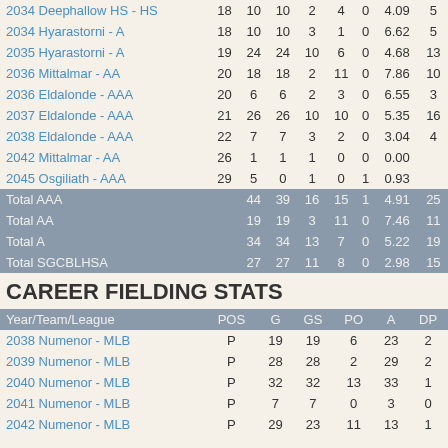| Year/Team/League | G | GS | W | L | SV | ERA |  |
| --- | --- | --- | --- | --- | --- | --- | --- |
| 2034 Deephallow HS - HS | 18 | 10 | 10 | 2 | 4 | 0 | 4.09 | 5 |
| 2034 Hyarastorni - A | 18 | 10 | 10 | 3 | 1 | 0 | 6.62 | 5 |
| 2035 Hyarastorni - A | 19 | 24 | 24 | 10 | 6 | 0 | 4.68 | 13 |
| 2036 Mittalmar - AA | 20 | 18 | 18 | 2 | 11 | 0 | 7.86 | 10 |
| 2036 Eldalonde - AAA | 20 | 6 | 6 | 2 | 3 | 0 | 6.55 | 3 |
| 2037 Eldalonde - AAA | 21 | 26 | 26 | 10 | 10 | 0 | 5.35 | 16 |
| 2038 Eldalonde - AAA | 22 | 7 | 7 | 3 | 2 | 0 | 3.04 | 4 |
| 2042 Mittalmar - AA | 26 | 1 | 1 | 1 | 0 | 0 | 0.00 |  |
| 2045 Osgiliath - AAA | 29 | 5 | 0 | 1 | 0 | 1 | 0.93 |  |
| Total AAA |  | 44 | 39 | 16 | 15 | 1 | 4.91 | 25 |
| Total AA |  | 19 | 19 | 3 | 11 | 0 | 7.46 | 11 |
| Total A |  | 34 | 34 | 13 | 7 | 0 | 5.22 | 19 |
| Total SGCBLHSA |  | 27 | 27 | 11 | 8 | 0 | 2.98 | 15 |
CAREER FIELDING STATS
| Year/Team/League | POS | G | GS | PO | A | DP |
| --- | --- | --- | --- | --- | --- | --- |
| 2038 Numenor - MLB | P | 19 | 19 | 6 | 23 | 2 |
| 2039 Numenor - MLB | P | 28 | 28 | 2 | 29 | 2 |
| 2040 Numenor - MLB | P | 32 | 32 | 13 | 33 | 1 |
| 2041 Numenor - MLB | P | 7 | 7 | 0 | 3 | 0 |
| 2042 Numenor - MLB | P | 29 | 23 | 11 | 13 | 1 |